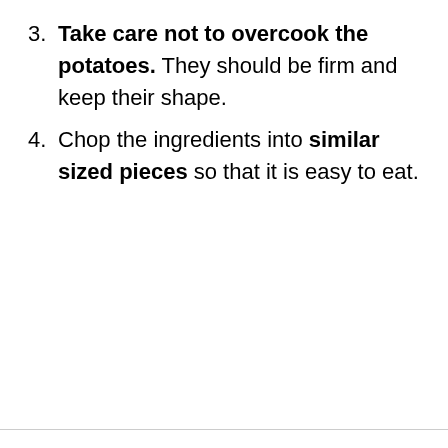3. Take care not to overcook the potatoes. They should be firm and keep their shape.
4. Chop the ingredients into similar sized pieces so that it is easy to eat.